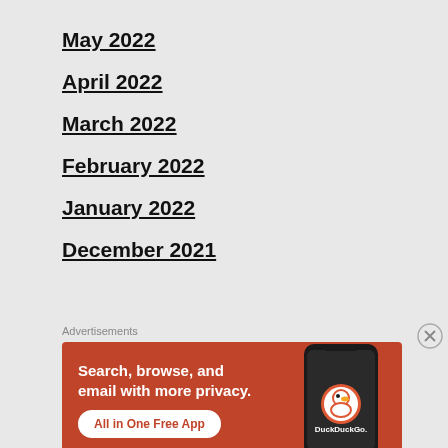May 2022
April 2022
March 2022
February 2022
January 2022
December 2021
Advertisements
[Figure (screenshot): DuckDuckGo advertisement banner showing 'Search, browse, and email with more privacy. All in One Free App' with a phone mockup and DuckDuckGo logo on an orange-red background.]